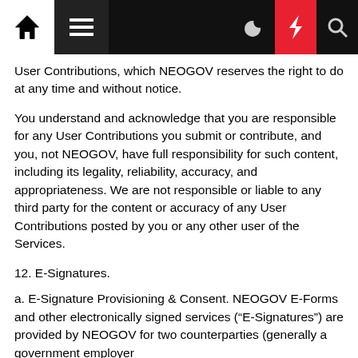Navigation bar with home, menu, dark mode, bolt, and search icons
User Contributions, which NEOGOV reserves the right to do at any time and without notice.
You understand and acknowledge that you are responsible for any User Contributions you submit or contribute, and you, not NEOGOV, have full responsibility for such content, including its legality, reliability, accuracy, and appropriateness. We are not responsible or liable to any third party for the content or accuracy of any User Contributions posted by you or any other user of the Services.
12. E-Signatures.
a. E-Signature Provisioning & Consent. NEOGOV E-Forms and other electronically signed services (“E-Signatures”) are provided by NEOGOV for two counterparties (generally a government employer